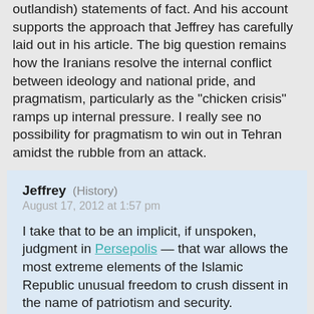outlandish) statements of fact. And his account supports the approach that Jeffrey has carefully laid out in his article. The big question remains how the Iranians resolve the internal conflict between ideology and national pride, and pragmatism, particularly as the "chicken crisis" ramps up internal pressure. I really see no possibility for pragmatism to win out in Tehran amidst the rubble from an attack.
Jeffrey (History) August 17, 2012 at 1:57 pm

I take that to be an implicit, if unspoken, judgment in Persepolis — that war allows the most extreme elements of the Islamic Republic unusual freedom to crush dissent in the name of patriotism and security.